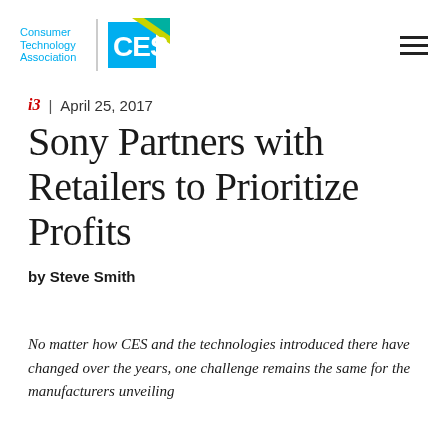[Figure (logo): Consumer Technology Association and CES logos in header]
i3 | April 25, 2017
Sony Partners with Retailers to Prioritize Profits
by Steve Smith
No matter how CES and the technologies introduced there have changed over the years, one challenge remains the same for the manufacturers unveiling